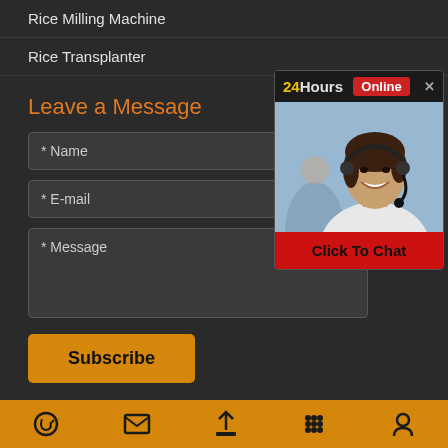Rice Milling Machine
Rice Transplanter
Leave a Message
* Name
* E-mail
* Message
[Figure (photo): Chat popup showing '24Hours Online' header with a smiling woman wearing a headset and a 'Click To Chat' red button]
Subscribe
Contact Us
Footer navigation icons: phone, email, upload, grid, location